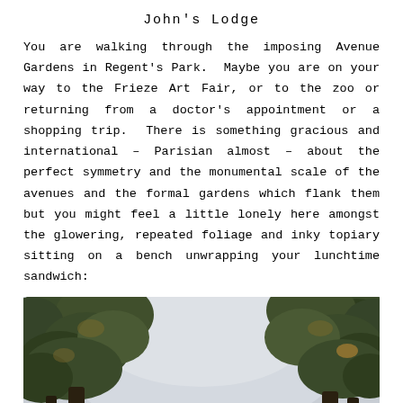John's Lodge
You are walking through the imposing Avenue Gardens in Regent's Park.  Maybe you are on your way to the Frieze Art Fair, or to the zoo or returning from a doctor's appointment or a shopping trip.  There is something gracious and international – Parisian almost – about the perfect symmetry and the monumental scale of the avenues and the formal gardens which flank them but you might feel a little lonely here amongst the glowering, repeated foliage and inky topiary sitting on a bench unwrapping your lunchtime sandwich:
[Figure (photo): Outdoor photograph looking up through tall trees with green and autumn-tinged foliage against an overcast grey sky. Tree trunks frame the left and right sides of the image.]